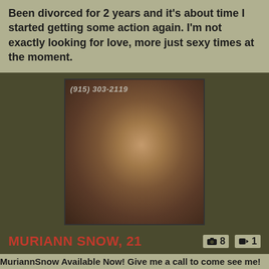Been divorced for 2 years and it's about time I started getting some action again. I'm not exactly looking for love, more just sexy times at the moment.
[Figure (photo): Profile photo of a young woman smiling, lying down, with text overlay '(915) 303-2119']
MURIANN SNOW, 21   📷 8  🎥 1
MuriannSnow Available Now! Give me a call to come see me!